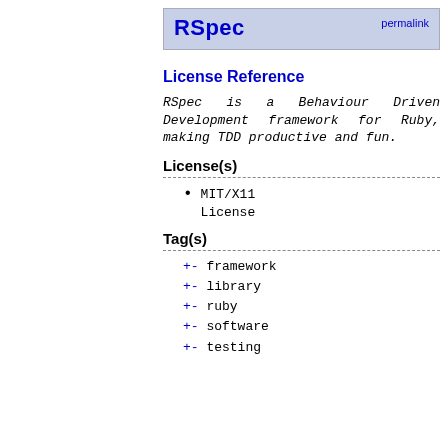RSpec  permalink
License Reference
RSpec is a Behaviour Driven Development framework for Ruby, making TDD productive and fun.
License(s)
MIT/X11 License
Tag(s)
+- framework
+- library
+- ruby
+- software
+- testing